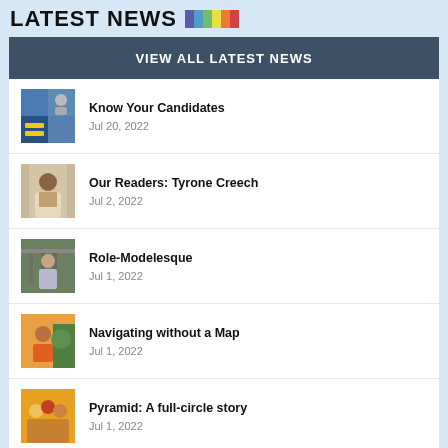LATEST NEWS
VIEW ALL LATEST NEWS
Know Your Candidates
Jul 20, 2022
Our Readers: Tyrone Creech
Jul 2, 2022
Role-Modelesque
Jul 1, 2022
Navigating without a Map
Jul 1, 2022
Pyramid: A full-circle story
Jul 1, 2022